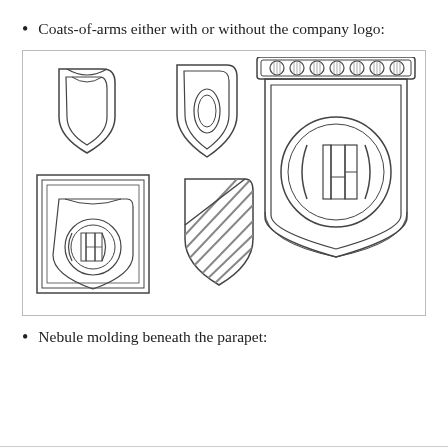Coats-of-arms either with or without the company logo:
[Figure (illustration): Six heraldic shield/coat-of-arms designs: top-left a plain shield outline, top-center a pointed shield with inner outline, top-right a large badge with decorative top parapet featuring circles/spheres and a central IAE monogram in a circle, bottom-left a framed plaque with IAE monogram in a shield, bottom-center a shield with diagonal stripe pattern, all rendered as line drawings.]
Nebule molding beneath the parapet: